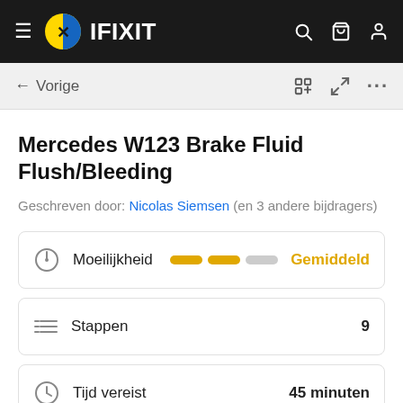IFIXIT
Mercedes W123 Brake Fluid Flush/Bleeding
Geschreven door: Nicolas Siemsen (en 3 andere bijdragers)
Moeilijkheid — Gemiddeld
Stappen 9
Tijd vereist 45 minuten